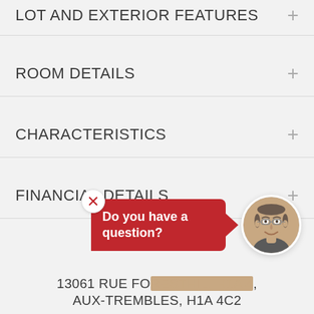LOT AND EXTERIOR FEATURES
ROOM DETAILS
CHARACTERISTICS
FINANCIAL DETAILS
[Figure (photo): Chat popup with red bubble saying 'Do you have a question?' and a circular photo of a male real estate agent with glasses, with an X close button]
13061 RUE FO... , H1A 4,
AUX-TREMBLES, H1A 4C2